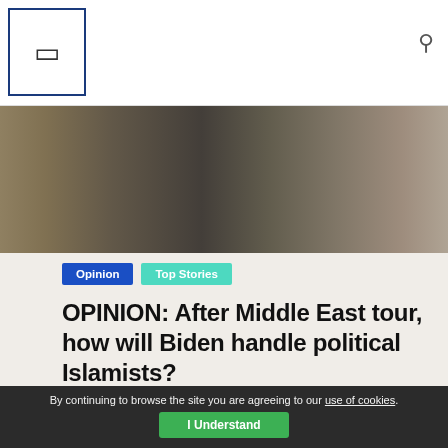Millichronicle navigation bar with logo and search icon
[Figure (photo): Hero photograph showing people in Middle East clothing, partial view of figures standing together]
Opinion | Top Stories
OPINION: After Middle East tour, how will Biden handle political Islamists?
August 3, 2022   Millichronicle
by Dalia Ziada The American president’s decision to go back to doing business with Arab leaders is wise and legitimate.
[Figure (photo): Thumbnail photo of a man with glasses, dark background]
OPINION: Look who’s calling who a “psychopath”—Saad Jabri moans
July 13, 2022
By continuing to browse the site you are agreeing to our use of cookies.
I Understand